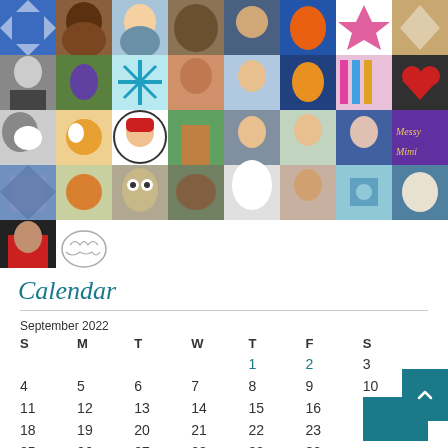[Figure (photo): Grid of photos showing people, animals, quilts, cats, birds, and decorative images arranged in 5 rows]
Calendar
| S | M | T | W | T | F | S |
| --- | --- | --- | --- | --- | --- | --- |
|  |  |  |  | 1 | 2 | 3 |
| 4 | 5 | 6 | 7 | 8 | 9 | 10 |
| 11 | 12 | 13 | 14 | 15 | 16 | 17 |
| 18 | 19 | 20 | 21 | 22 | 23 | 24 |
| 25 | 26 | 27 | 28 | 29 | 30 |  |